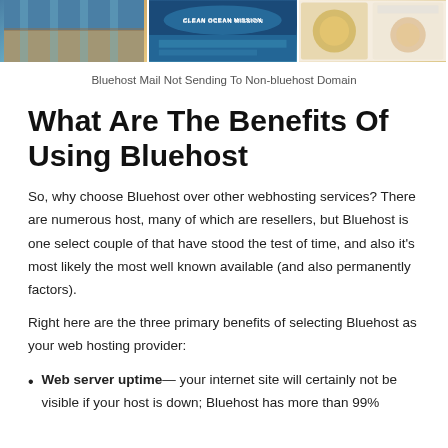[Figure (photo): Three horizontal image panels showing: a warehouse/industrial interior with blue tones, an ocean/water scene with text 'CLEAN OCEAN MISSION', and food/dish photographs on a light background]
Bluehost Mail Not Sending To Non-bluehost Domain
What Are The Benefits Of Using Bluehost
So, why choose Bluehost over other webhosting services? There are numerous host, many of which are resellers, but Bluehost is one select couple of that have stood the test of time, and also it’s most likely the most well known available (and also permanently factors).
Right here are the three primary benefits of selecting Bluehost as your web hosting provider:
Web server uptime— your internet site will certainly not be visible if your host is down; Bluehost has more than 99%